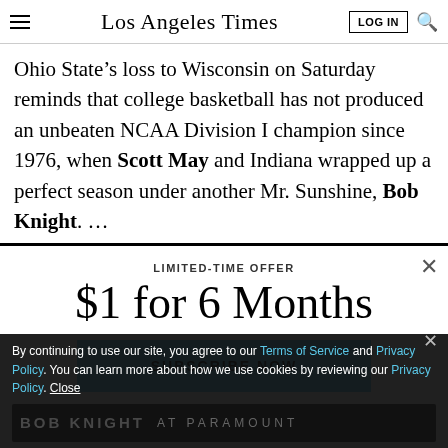Los Angeles Times
Ohio State’s loss to Wisconsin on Saturday reminds that college basketball has not produced an unbeaten NCAA Division I champion since 1976, when Scott May and Indiana wrapped up a perfect season under another Mr. Sunshine, Bob Knight. …
LIMITED-TIME OFFER
$1 for 6 Months
SUBSCRIBE NOW
By continuing to use our site, you agree to our Terms of Service and Privacy Policy. You can learn more about how we use cookies by reviewing our Privacy Policy. Close